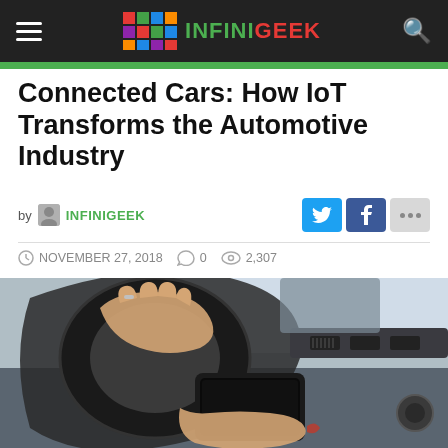INFINIGEEK
Connected Cars: How IoT Transforms the Automotive Industry
by INFINIGEEK
NOVEMBER 27, 2018   0   2,307
[Figure (photo): Person driving a car while holding a smartphone, with the steering wheel and dashboard visible in the background.]